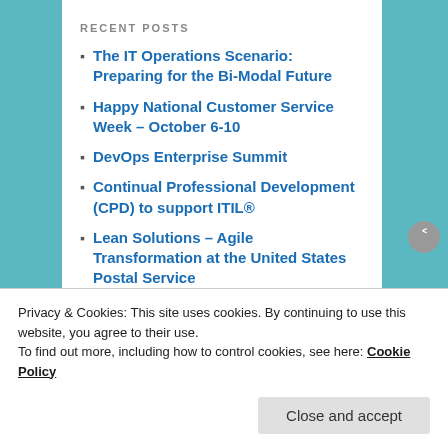RECENT POSTS
The IT Operations Scenario: Preparing for the Bi-Modal Future
Happy National Customer Service Week – October 6-10
DevOps Enterprise Summit
Continual Professional Development (CPD) to support ITIL®
Lean Solutions  – Agile Transformation at the United States Postal Service
FOLLOW BLOG VIA EMAIL
Privacy & Cookies: This site uses cookies. By continuing to use this website, you agree to their use.
To find out more, including how to control cookies, see here: Cookie Policy
Close and accept